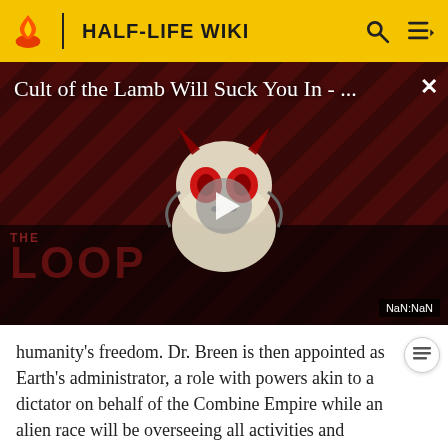HALF-LIFE WIKI
[Figure (screenshot): Video thumbnail for 'Cult of the Lamb Will Suck You In - ...' with a play button overlay, The Loop watermark, and NaN:NaN time indicator. Dark red diagonal striped background with a cartoon monster character.]
humanity's freedom. Dr. Breen is then appointed as Earth's administrator, a role with powers akin to a dictator on behalf of the Combine Empire while an alien race will be overseeing all activities and communication between Earth and the Combine – the Combine Advisors.[72] The